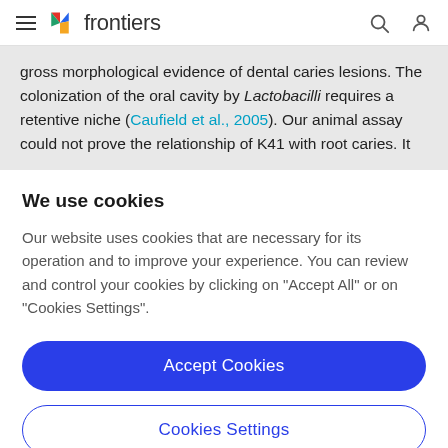frontiers
gross morphological evidence of dental caries lesions. The colonization of the oral cavity by Lactobacilli requires a retentive niche (Caufield et al., 2005). Our animal assay could not prove the relationship of K41 with root caries. It
We use cookies
Our website uses cookies that are necessary for its operation and to improve your experience. You can review and control your cookies by clicking on "Accept All" or on "Cookies Settings".
Accept Cookies
Cookies Settings